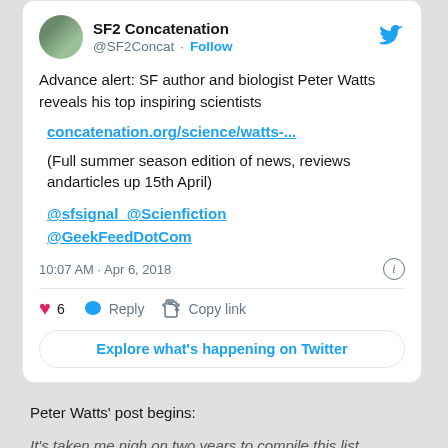[Figure (screenshot): Tweet from @SF2Concat (SF2 Concatenation) with Twitter bird logo, avatar image, follow button, tweet text about SF author Peter Watts, a link, mentions, timestamp, like/reply/copy actions, and Explore button]
Peter Watts’ post begins:
It’s taken me nigh on two years to compile this list. Perhaps half